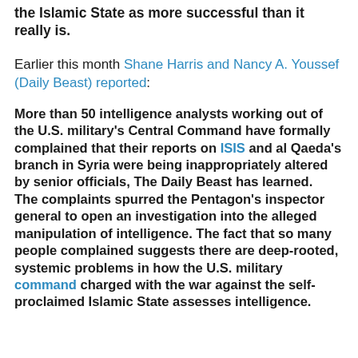the Islamic State as more successful than it really is.
Earlier this month Shane Harris and Nancy A. Youssef (Daily Beast) reported:
More than 50 intelligence analysts working out of the U.S. military's Central Command have formally complained that their reports on ISIS and al Qaeda's branch in Syria were being inappropriately altered by senior officials, The Daily Beast has learned. The complaints spurred the Pentagon's inspector general to open an investigation into the alleged manipulation of intelligence. The fact that so many people complained suggests there are deep-rooted, systemic problems in how the U.S. military command charged with the war against the self-proclaimed Islamic State assesses intelligence.